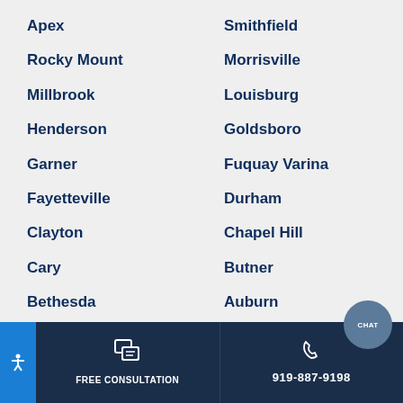Apex
Smithfield
Rocky Mount
Morrisville
Millbrook
Louisburg
Henderson
Goldsboro
Garner
Fuquay Varina
Fayetteville
Durham
Clayton
Chapel Hill
Cary
Butner
Bethesda
Auburn
Wake Forest
Wilson
FREE CONSULTATION | 919-887-9198